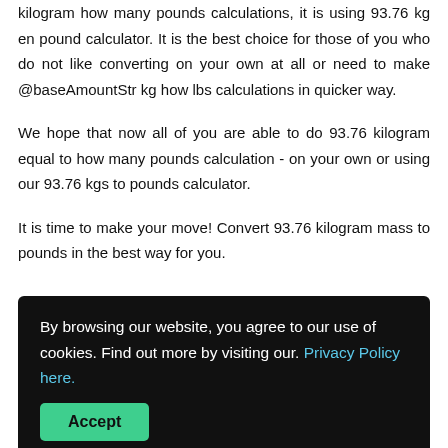kilogram how many pounds calculations, it is using 93.76 kg en pound calculator. It is the best choice for those of you who do not like converting on your own at all or need to make @baseAmountStr kg how lbs calculations in quicker way.
We hope that now all of you are able to do 93.76 kilogram equal to how many pounds calculation - on your own or using our 93.76 kgs to pounds calculator.
It is time to make your move! Convert 93.76 kilogram mass to pounds in the best way for you.
By browsing our website, you agree to our use of cookies. Find out more by visiting our. Privacy Policy here.